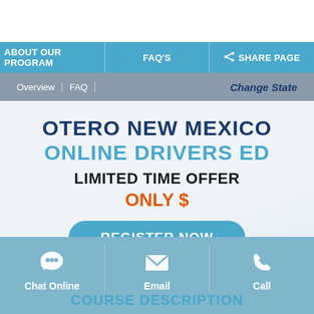ABOUT OUR PROGRAM | FAQ'S | Share page
Overview | FAQ | Change State
OTERO NEW MEXICO ONLINE DRIVERS ED
LIMITED TIME OFFER
ONLY $
REGISTER NOW
COURSE DESCRIPTION
Chat Online | Email | Call